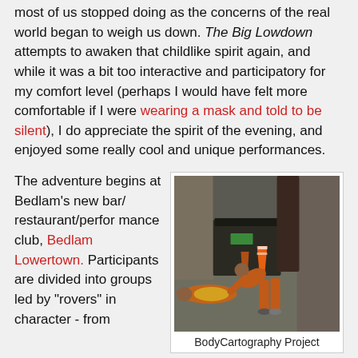most of us stopped doing as the concerns of the real world began to weigh us down. The Big Lowdown attempts to awaken that childlike spirit again, and while it was a bit too interactive and participatory for my comfort level (perhaps I would have felt more comfortable if I were wearing a mask and told to be silent), I do appreciate the spirit of the evening, and enjoyed some really cool and unique performances.
The adventure begins at Bedlam's new bar/restaurant/performance club, Bedlam Lowertown. Participants are divided into groups led by "rovers" in character - from
[Figure (photo): Outdoor street scene at night showing performers in orange jumpsuits on a sidewalk. One person lies on the ground wearing a yellow vest, while another person in orange bends over them. In the background there is a large dark bin/dumpster and orange traffic cones against a brick/concrete wall.]
BodyCartography Project